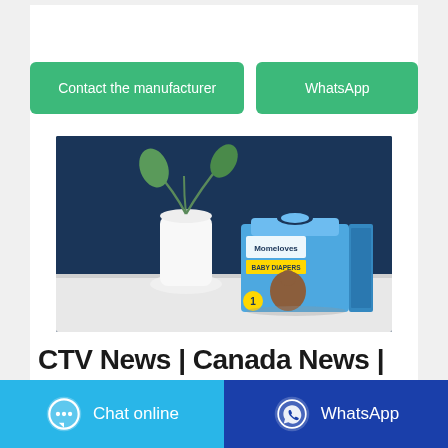Contact the manufacturer
WhatsApp
[Figure (photo): Product photo of Momeloves Baby Diapers box on a white table with dark navy background and a white vase with green plant.]
CTV News | Canada News |
Chat online
WhatsApp